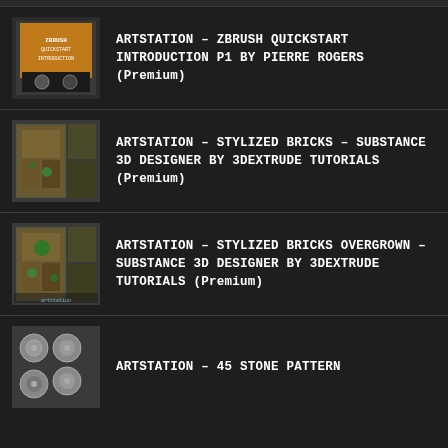ARTSTATION – ZBRUSH QUICKSTART INTRODUCTION P1 BY PIERRE ROGERS (Premium)
ARTSTATION – STYLIZED BRICKS – SUBSTANCE 3D DESIGNER BY 3DEXTRUDE TUTORIALS (Premium)
ARTSTATION – STYLIZED BRICKS OVERGROWN – SUBSTANCE 3D DESIGNER BY 3DEXTRUDE TUTORIALS (Premium)
ARTSTATION – 45 STONE PATTERN